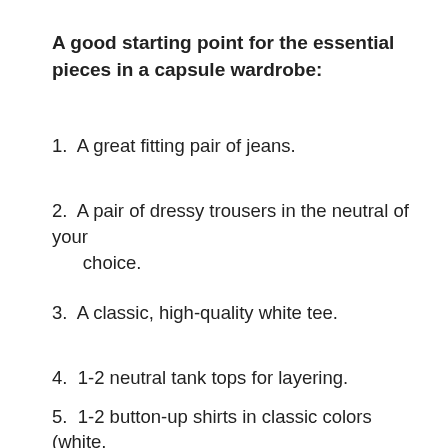A good starting point for the essential pieces in a capsule wardrobe:
1. A great fitting pair of jeans.
2. A pair of dressy trousers in the neutral of your choice.
3. A classic, high-quality white tee.
4. 1-2 neutral tank tops for layering.
5. 1-2 button-up shirts in classic colors (white, oxford blue)
6. A little black dress, of course!